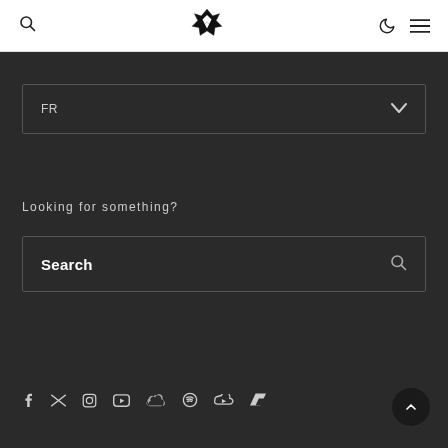Navigation header with search icon, logo, moon icon, and hamburger menu
[Figure (screenshot): Dropdown selector showing 'FR' language option with chevron on dark background]
Looking for something?
[Figure (screenshot): Search input box with 'Search' placeholder text and magnifying glass icon on dark background]
[Figure (infographic): Social media icon row: Facebook, Twitter, Instagram, YouTube, SoundCloud, Spotify, Mixcloud, Bandcamp/Slash]
[Figure (other): Back to top button - circular dark button with upward chevron arrow]